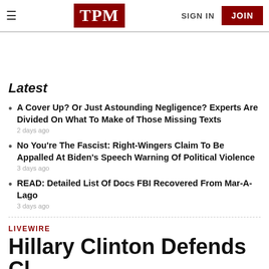TPM | SIGN IN | JOIN
Latest
A Cover Up? Or Just Astounding Negligence? Experts Are Divided On What To Make of Those Missing Texts
2 days ago
No You're The Fascist: Right-Wingers Claim To Be Appalled At Biden's Speech Warning Of Political Violence
3 days ago
READ: Detailed List Of Docs FBI Recovered From Mar-A-Lago
3 days ago
LIVEWIRE
Hillary Clinton Defends Cl...